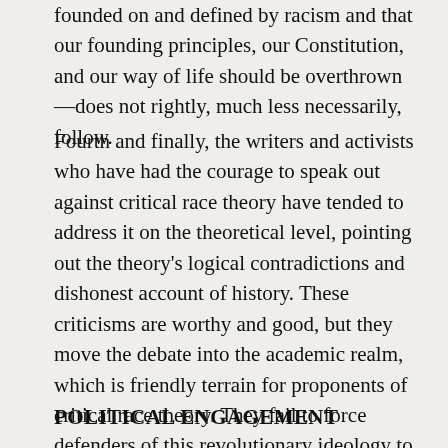founded on and defined by racism and that our founding principles, our Constitution, and our way of life should be overthrown—does not rightly, much less necessarily, follow.
Fourth and finally, the writers and activists who have had the courage to speak out against critical race theory have tended to address it on the theoretical level, pointing out the theory's logical contradictions and dishonest account of history. These criticisms are worthy and good, but they move the debate into the academic realm, which is friendly terrain for proponents of critical race theory. They fail to force defenders of this revolutionary ideology to defend the practical consequences of their ideas in the realm of politics.
POLITICAL ENGAGEMENT